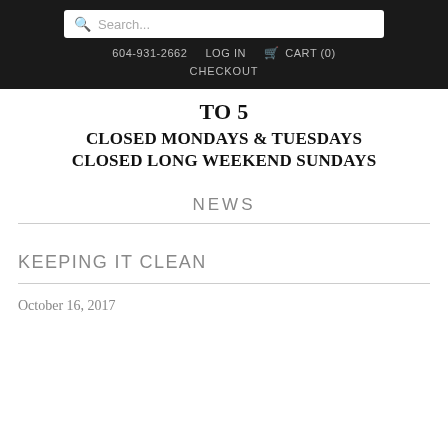Search... | 604-931-2662 | LOG IN | CART (0) | CHECKOUT
TO 5
CLOSED MONDAYS & TUESDAYS
CLOSED LONG WEEKEND SUNDAYS
NEWS
KEEPING IT CLEAN
October 16, 2017